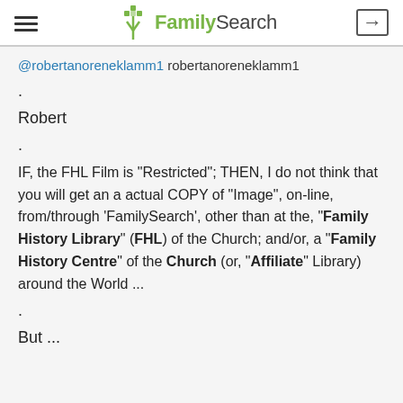FamilySearch
@robertanoreneklamm1 robertanoreneklamm1
.
Robert
.
IF, the FHL Film is "Restricted"; THEN, I do not think that you will get an a actual COPY of "Image", on-line, from/through 'FamilySearch', other than at the, "Family History Library" (FHL) of the Church; and/or, a "Family History Centre" of the Church (or, "Affiliate" Library) around the World ...
.
But ...